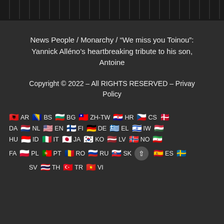News People / Monarchy / “We miss you Toinou”: Yannick Alléno’s heartbreaking tribute to his son, Antoine
Copyright © 2022 – All RIGHTS RESERVED – Privay Policy
[Figure (other): A grid of country flag emojis with their language/country codes: AR, BS, BG, ZH-TW, HR, CS, DA, NL, EN, FI, DE, EL, IW, HU, ID, IT, JA, KO, LV, NO, FA, PL, PT, RO, RU, SK, ES, SV, TH, TR, VI]